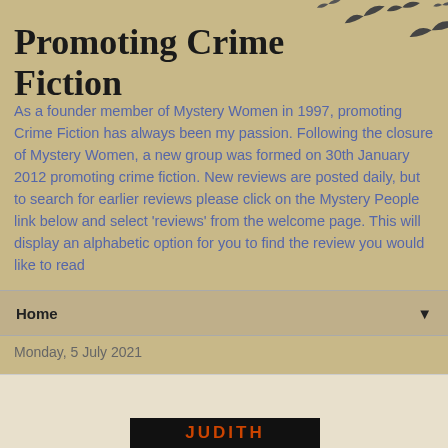Promoting Crime Fiction
As a founder member of Mystery Women in 1997, promoting Crime Fiction has always been my passion. Following the closure of Mystery Women, a new group was formed on 30th January 2012 promoting crime fiction. New reviews are posted daily, but to search for earlier reviews please click on the Mystery People link below and select 'reviews' from the welcome page. This will display an alphabetic option for you to find the review you would like to read
Home ▼
Monday, 5 July 2021
'Murder in Devon' by Judith Cutler
[Figure (photo): Book cover showing 'JUDITH' text in orange on black background]